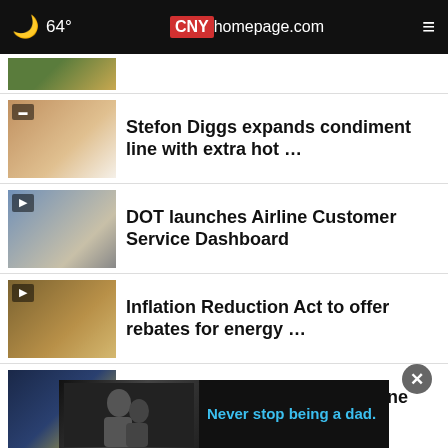🌙 64°  CNYhomepage.com  ≡
(partial headline cut off)
Stefon Diggs expands condiment line with extra hot …
DOT launches Airline Customer Service Dashboard
Inflation Reduction Act to offer rebates for energy …
Fatal car crash in Marcy kills one pedestrian
NYS Environmental Facilities Corp. must pay $500K …
[Figure (screenshot): Advertisement banner showing two people in black and white photo with text 'Never stop being a dad.' in blue]